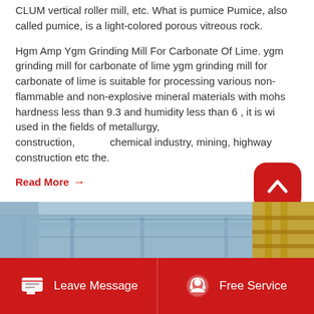CLUM vertical roller mill, etc. What is pumice Pumice, also called pumice, is a light-colored porous vitreous rock.
Hgm Amp Ygm Grinding Mill For Carbonate Of Lime. ygm grinding mill for carbonate of lime ygm grinding mill for carbonate of lime is suitable for processing various non-flammable and non-explosive mineral materials with mohs hardness less than 9.3 and humidity less than 6 , it is widely used in the fields of metallurgy, construction, chemical industry, mining, highway construction etc the.
Read More →
[Figure (photo): Interior of an industrial facility or warehouse showing structural beams, yellow scaffolding/equipment on the right side.]
Leave Message   Free Service